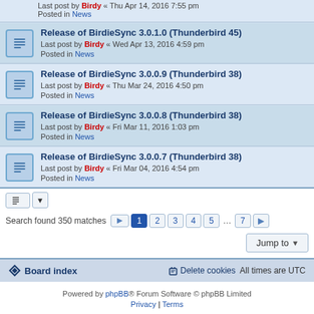Last post by Birdy « Thu Apr 14, 2016 7:55 pm
Posted in News
Release of BirdieSync 3.0.1.0 (Thunderbird 45)
Last post by Birdy « Wed Apr 13, 2016 4:59 pm
Posted in News
Release of BirdieSync 3.0.0.9 (Thunderbird 38)
Last post by Birdy « Thu Mar 24, 2016 4:50 pm
Posted in News
Release of BirdieSync 3.0.0.8 (Thunderbird 38)
Last post by Birdy « Fri Mar 11, 2016 1:03 pm
Posted in News
Release of BirdieSync 3.0.0.7 (Thunderbird 38)
Last post by Birdy « Fri Mar 04, 2016 4:54 pm
Posted in News
Search found 350 matches  1 2 3 4 5 ... 7
Jump to
Board index   Delete cookies   All times are UTC
Powered by phpBB® Forum Software © phpBB Limited
Privacy | Terms